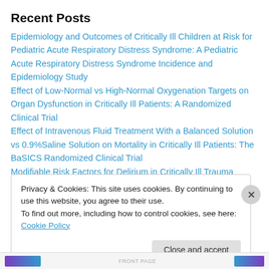Recent Posts
Epidemiology and Outcomes of Critically Ill Children at Risk for Pediatric Acute Respiratory Distress Syndrome: A Pediatric Acute Respiratory Distress Syndrome Incidence and Epidemiology Study
Effect of Low-Normal vs High-Normal Oxygenation Targets on Organ Dysfunction in Critically Ill Patients: A Randomized Clinical Trial
Effect of Intravenous Fluid Treatment With a Balanced Solution vs 0.9%Saline Solution on Mortality in Critically Ill Patients: The BaSICS Randomized Clinical Trial
Modifiable Risk Factors for Delirium in Critically Ill Trauma Patients: A Multicenter Prospective Study (Kolli)
Privacy & Cookies: This site uses cookies. By continuing to use this website, you agree to their use.
To find out more, including how to control cookies, see here: Cookie Policy
Close and accept